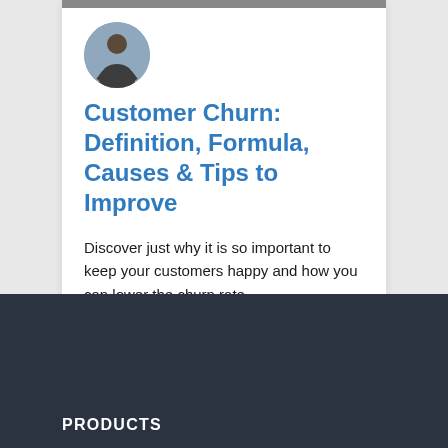[Figure (photo): Circular avatar photo of a man with arms crossed wearing a dark shirt]
Customer Churn: Definition, Formula, Causes & Tips to Improve
Discover just why it is so important to keep your customers happy and how you can lower the churn rate.
READ MORE »
PRODUCTS